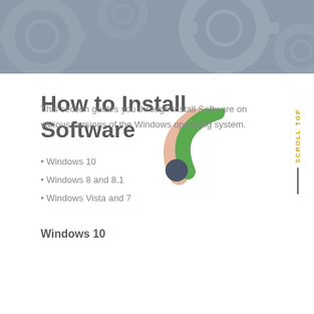[Figure (illustration): Gray header banner with faint gear/cog graphic watermark overlay]
How to Install Software
[Figure (illustration): Decorative RSS-style arc icon in green and salmon/peach with a dark circular dot at the base]
This section guides you through Install Software on various versions of the Windows operating system.
Windows 10
Windows 8 and 8.1
Windows Vista and 7
Windows 10